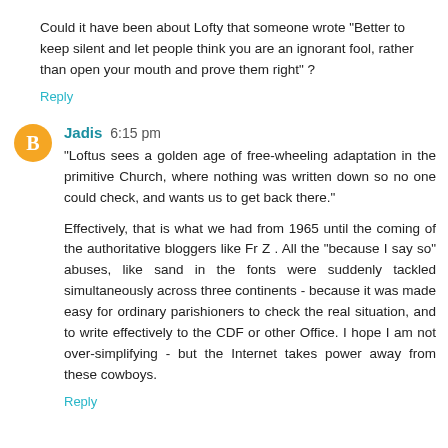Could it have been about Lofty that someone wrote "Better to keep silent and let people think you are an ignorant fool, rather than open your mouth and prove them right" ?
Reply
Jadis 6:15 pm
"Loftus sees a golden age of free-wheeling adaptation in the primitive Church, where nothing was written down so no one could check, and wants us to get back there."
Effectively, that is what we had from 1965 until the coming of the authoritative bloggers like Fr Z . All the "because I say so" abuses, like sand in the fonts were suddenly tackled simultaneously across three continents - because it was made easy for ordinary parishioners to check the real situation, and to write effectively to the CDF or other Office. I hope I am not over-simplifying - but the Internet takes power away from these cowboys.
Reply